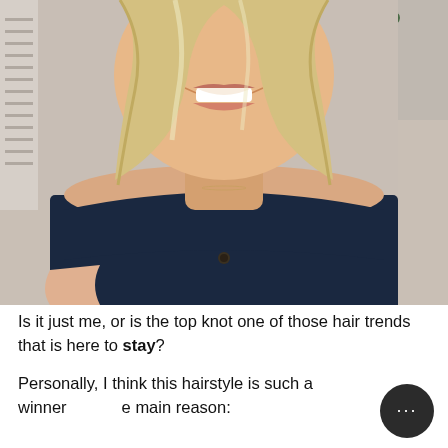[Figure (photo): A smiling woman with blonde wavy shoulder-length hair wearing a dark navy off-shoulder top, photographed from chest up, selfie-style in an indoor setting.]
Is it just me, or is the top knot one of those hair trends that is here to stay?
Personally, I think this hairstyle is such a winner for one main reason: